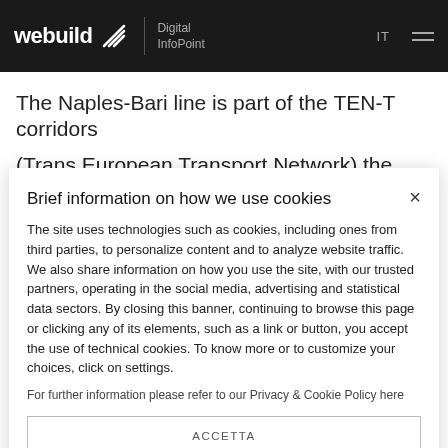webuild Digital InfoPoint  IT  ☰
The Naples-Bari line is part of the TEN-T corridors
(Trans European Transport Network) the...
Brief information on how we use cookies
The site uses technologies such as cookies, including ones from third parties, to personalize content and to analyze website traffic. We also share information on how you use the site, with our trusted partners, operating in the social media, advertising and statistical data sectors. By closing this banner, continuing to browse this page or clicking any of its elements, such as a link or button, you accept the use of technical cookies. To know more or to customize your choices, click on settings.
For further information please refer to our Privacy & Cookie Policy here
ACCETTA
SETTINGS